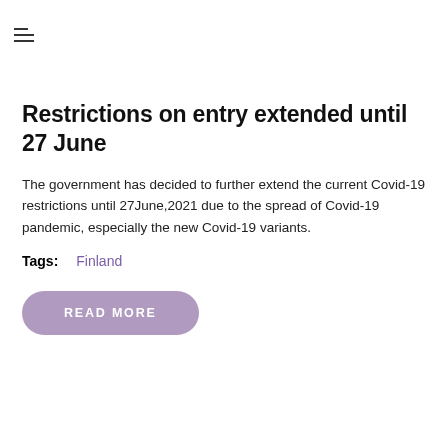swisscare
[Figure (photo): A reindeer walking in a snowy landscape, used as a hero banner image for the SwissCare website]
Restrictions on entry extended until 27 June
The government has decided to further extend the current Covid-19 restrictions until 27June,2021 due to the spread of Covid-19 pandemic, especially the new Covid-19 variants.
Tags:   Finland
READ MORE